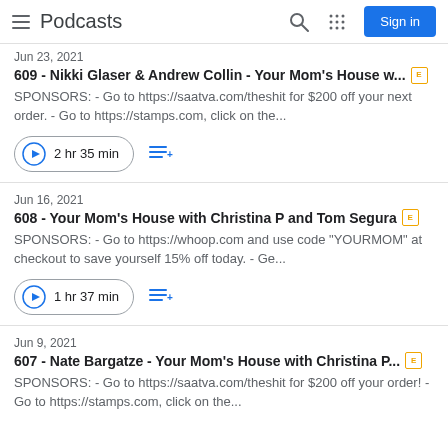Podcasts
609 - Nikki Glaser & Andrew Collin - Your Mom's House w... [E]
SPONSORS: - Go to https://saatva.com/theshit for $200 off your next order. - Go to https://stamps.com, click on the...
2 hr 35 min
Jun 16, 2021
608 - Your Mom's House with Christina P and Tom Segura [E]
SPONSORS: - Go to https://whoop.com and use code "YOURMOM" at checkout to save yourself 15% off today. - Ge...
1 hr 37 min
Jun 9, 2021
607 - Nate Bargatze - Your Mom's House with Christina P... [E]
SPONSORS: - Go to https://saatva.com/theshit for $200 off your order! - Go to https://stamps.com, click on the...